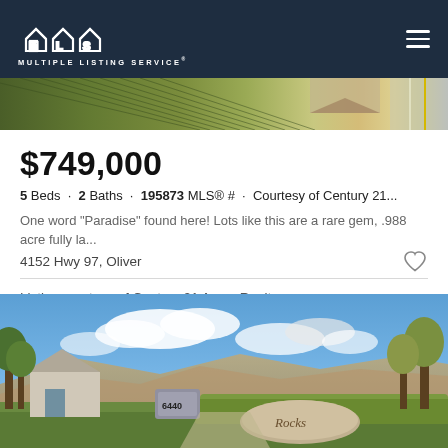MLS Multiple Listing Service®
[Figure (photo): Aerial view of farmland/vineyard rows with a road and rooftop visible]
$749,000
5 Beds · 2 Baths · 195873 MLS® # · Courtesy of Century 21...
One word "Paradise" found here! Lots like this are a rare gem, .988 acre fully la...
4152 Hwy 97, Oliver
Listing courtesy of Century 21 Amos Realty.
[Figure (photo): Exterior photo of a residential community entrance with mountain backdrop, blue sky, trees, and a stone sign reading 'Rocks' at address 6440]